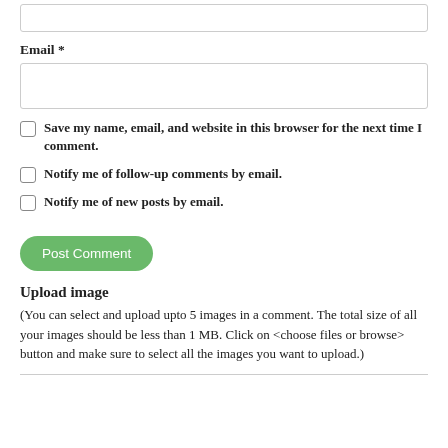Email *
Save my name, email, and website in this browser for the next time I comment.
Notify me of follow-up comments by email.
Notify me of new posts by email.
Post Comment
Upload image
(You can select and upload upto 5 images in a comment. The total size of all your images should be less than 1 MB. Click on <choose files or browse> button and make sure to select all the images you want to upload.)